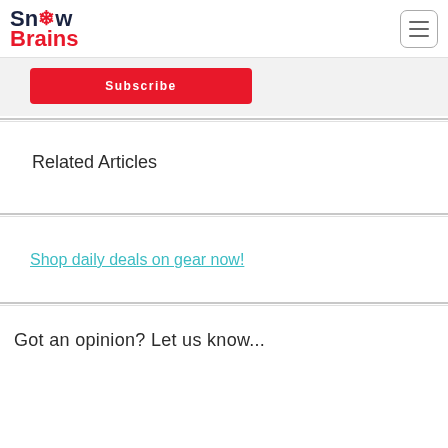Snow Brains
Subscribe
Related Articles
Shop daily deals on gear now!
Got an opinion? Let us know...